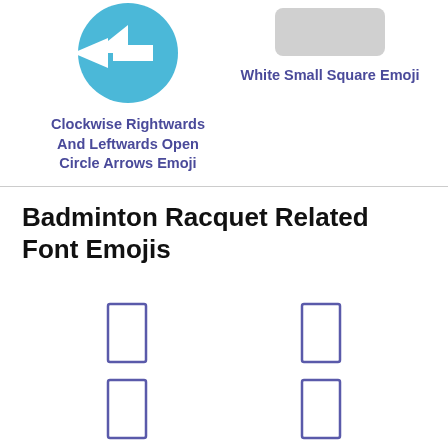[Figure (illustration): Blue circular emoji with white leftward arrow (Clockwise Rightwards And Leftwards Open Circle Arrows Emoji)]
Clockwise Rightwards And Leftwards Open Circle Arrows Emoji
[Figure (illustration): Gray rounded rectangle representing White Small Square Emoji]
White Small Square Emoji
Badminton Racquet Related Font Emojis
[Figure (illustration): Rectangular box outline (emoji placeholder) top-left]
[Figure (illustration): Rectangular box outline (emoji placeholder) top-right]
[Figure (illustration): Rectangular box outline (emoji placeholder) bottom-left]
[Figure (illustration): Rectangular box outline (emoji placeholder) bottom-right]